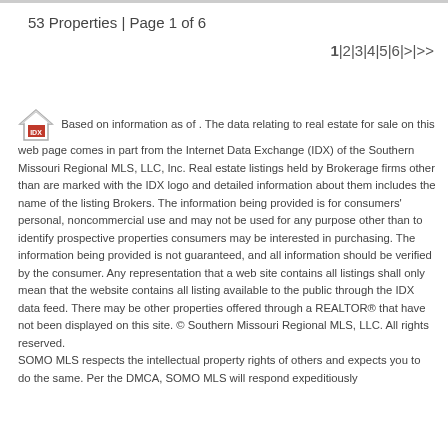53 Properties | Page 1 of 6
1|2|3|4|5|6|>|>>
Based on information as of . The data relating to real estate for sale on this web page comes in part from the Internet Data Exchange (IDX) of the Southern Missouri Regional MLS, LLC, Inc. Real estate listings held by Brokerage firms other than are marked with the IDX logo and detailed information about them includes the name of the listing Brokers. The information being provided is for consumers' personal, noncommercial use and may not be used for any purpose other than to identify prospective properties consumers may be interested in purchasing. The information being provided is not guaranteed, and all information should be verified by the consumer. Any representation that a web site contains all listings shall only mean that the website contains all listing available to the public through the IDX data feed. There may be other properties offered through a REALTOR® that have not been displayed on this site. © Southern Missouri Regional MLS, LLC. All rights reserved. SOMO MLS respects the intellectual property rights of others and expects you to do the same. Per the DMCA, SOMO MLS will respond expeditiously